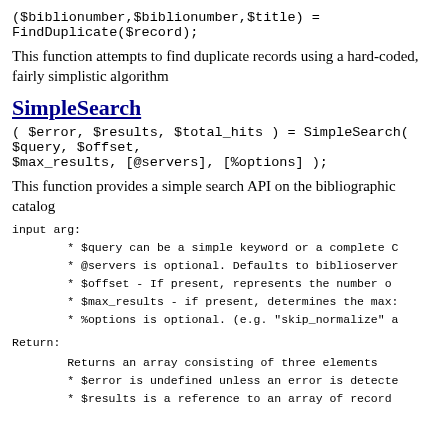($biblionumber,$biblionumber,$title) = FindDuplicate($record);
This function attempts to find duplicate records using a hard-coded, fairly simplistic algorithm
SimpleSearch
( $error, $results, $total_hits ) = SimpleSearch( $query, $offset, $max_results, [@servers], [%options] );
This function provides a simple search API on the bibliographic catalog
input arg:
* $query can be a simple keyword or a complete C
* @servers is optional. Defaults to biblioserver
* $offset - If present, represents the number o
* $max_results - if present, determines the max:
* %options is optional. (e.g. "skip_normalize" a
Return:
Returns an array consisting of three elements
* $error is undefined unless an error is detecte
* $results is a reference to an array of record